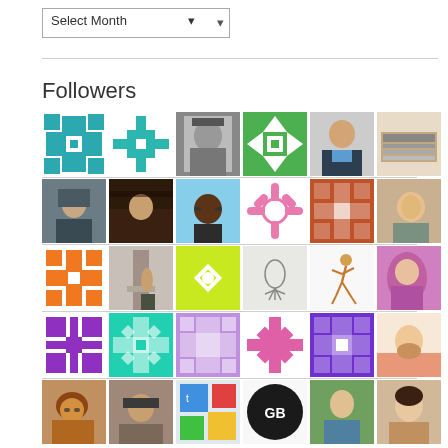[Figure (screenshot): Select Month dropdown widget]
Followers
[Figure (infographic): Grid of follower avatar thumbnails - 5 rows of 6 avatars each, mix of geometric pattern avatars and profile photos]